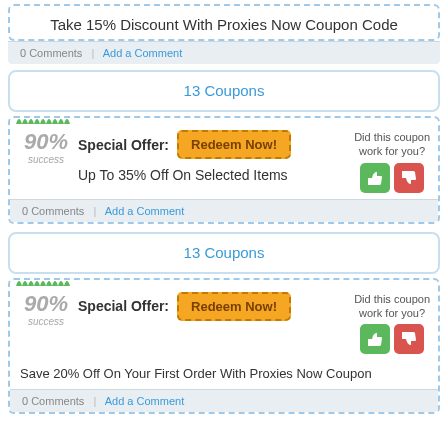Take 15% Discount With Proxies Now Coupon Code
0 Comments | Add a Comment
13 Coupons
[Figure (infographic): Coupon card: 90% success, Special Offer: Redeem Now! button, Up To 35% Off On Selected Items, thumbs up/down voting]
0 Comments | Add a Comment
13 Coupons
[Figure (infographic): Coupon card: 90% success, Special Offer: Redeem Now! button, Save 20% Off On Your First Order With Proxies Now Coupon, thumbs up/down voting]
0 Comments | Add a Comment